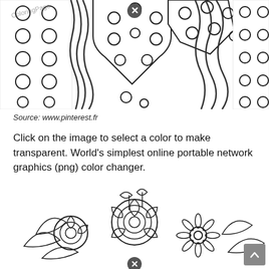[Figure (illustration): Coloring page showing a girl with long wavy hair wearing a polka-dot outfit, with a button detail, cropped at top — black line art on white background.]
Source: www.pinterest.fr
Click on the image to select a color to make transparent. World's simplest online portable network graphics (png) color changer.
[Figure (illustration): Coloring page showing a bouquet of flowers including roses, sunflowers, and leaves — detailed black line art on white background, with a small X icon overlay.]